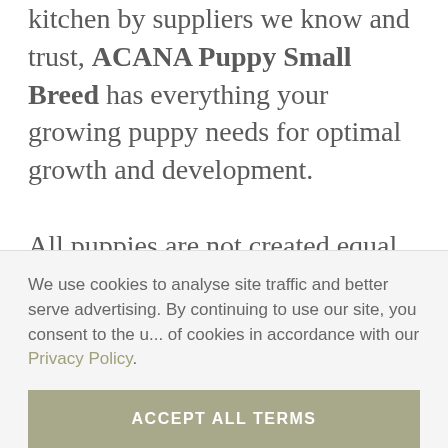kitchen by suppliers we know and trust, ACANA Puppy Small Breed has everything your growing puppy needs for optimal growth and development. All puppies are not created equal. Your large-breed puppy has unique nutritional needs to support their rapid growth and bone development, including protein and fat from whole animal ingredients. ACANA Puppy Large Breed is rich in free-run chicken and wild-caught flounder, with the
We use cookies to analyse site traffic and better serve advertising. By continuing to use our site, you consent to the use of cookies in accordance with our Privacy Policy.
ACCEPT ALL TERMS